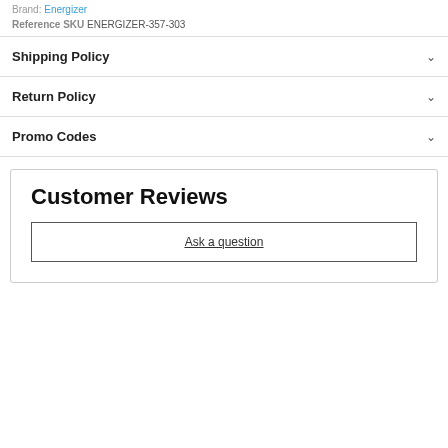Brand: Energizer
Reference SKU ENERGIZER-357-303
Shipping Policy
Return Policy
Promo Codes
Customer Reviews
Ask a question